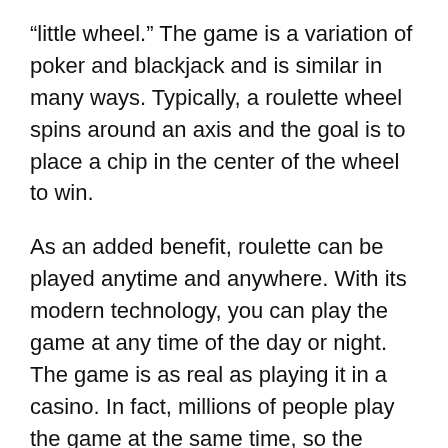“little wheel.” The game is a variation of poker and blackjack and is similar in many ways. Typically, a roulette wheel spins around an axis and the goal is to place a chip in the center of the wheel to win.
As an added benefit, roulette can be played anytime and anywhere. With its modern technology, you can play the game at any time of the day or night. The game is as real as playing it in a casino. In fact, millions of people play the game at the same time, so the competition is fierce! You can play roulette anywhere, including in the comfort of your own home. The fun factor is the fact that you can play it anywhere!